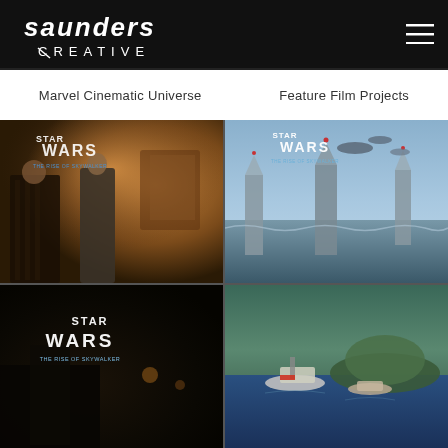[Figure (logo): Saunders Creative logo on black background, white stylized text]
Marvel Cinematic Universe
Feature Film Projects
[Figure (photo): Star Wars: The Rise of Skywalker artwork - two characters in warm interior scene]
[Figure (photo): Star Wars: The Rise of Skywalker artwork - ships over icy fortress scene]
[Figure (photo): Star Wars: The Rise of Skywalker artwork - dark scene with logo]
[Figure (photo): Star Wars: The Rise of Skywalker artwork - boats on water scene]